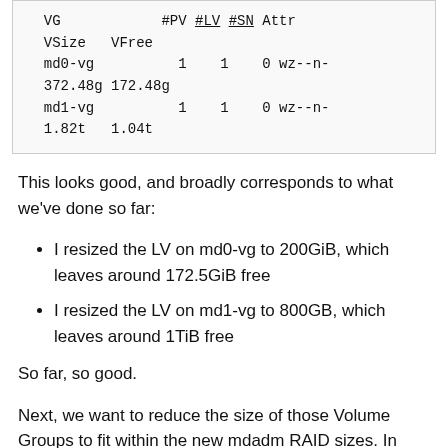[Figure (screenshot): Terminal output showing vgs command result with VG, #PV, #LV, #SN, Attr, VSize, VFree columns. md0-vg has 1 PV, 1 LV, 0 SN, wz--n- attr, 372.48g VSize, 172.48g VFree. md1-vg has 1 PV, 1 LV, 0 SN, wz--n- attr, 1.82t VSize, 1.04t VFree.]
This looks good, and broadly corresponds to what we've done so far:
I resized the LV on md0-vg to 200GiB, which leaves around 172.5GiB free
I resized the LV on md1-vg to 800GB, which leaves around 1TiB free
So far, so good.
Next, we want to reduce the size of those Volume Groups to fit within the new mdadm RAID sizes.  In